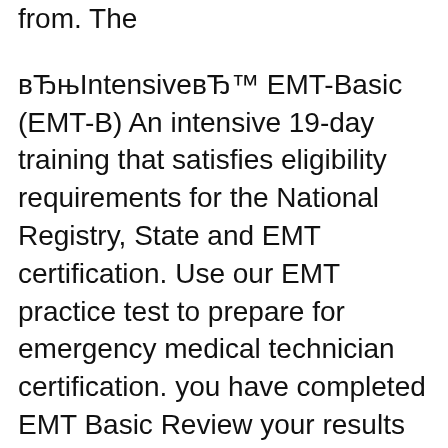from. The
вЂњIntensiveвЂ™ EMT-Basic (EMT-B) An intensive 19-day training that satisfies eligibility requirements for the National Registry, State and EMT certification. Use our EMT practice test to prepare for emergency medical technician certification. you have completed EMT Basic Review your results with diagnostics to
EMT basic Review national certification - The EMT-Basic Review Manual for National Certification is designed to prepare you to sit for the National Certification Exam Emt Intermediate Review Manual For National Certification